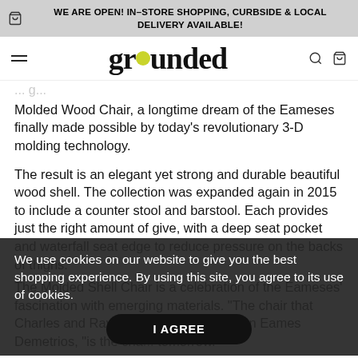WE ARE OPEN! IN-STORE SHOPPING, CURBSIDE & LOCAL DELIVERY AVAILABLE!
[Figure (logo): Grounded store logo with yellow-green dot replacing the 'o' in grounded]
Molded Wood Chair, a longtime dream of the Eameses finally made possible by today's revolutionary 3-D molding technology.
The result is an elegant yet strong and durable beautiful wood shell. The collection was expanded again in 2015 to include a counter stool and barstool. Each provides just the right amount of give, with a deep seat pocket and waterfall seat edge to reduce pressure on the backs of thighs.
The Molded Shell Chair is a celebration of the Eameses' fascination with emerging materials. "The chair that Charles and Ray were d... says grandson Eames Demetrios, "is the cha... tomorrow."
We use cookies on our website to give you the best shopping experience. By using this site, you agree to its use of cookies.
I AGREE